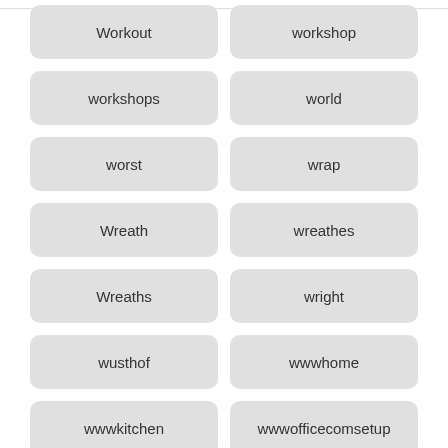Workout
workshop
workshops
world
worst
wrap
Wreath
wreathes
Wreaths
wright
wusthof
wwwhome
wwwkitchen
wwwofficecomsetup
yacht
yard
Yarn
year